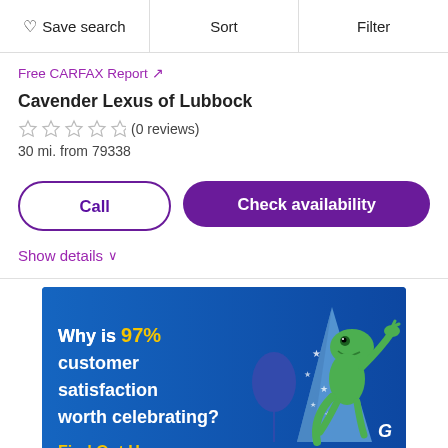Save search | Sort | Filter
Free CARFAX Report ↗
Cavender Lexus of Lubbock
☆☆☆☆☆ (0 reviews)
30 mi. from 79338
Call | Check availability
Show details
[Figure (illustration): GEICO advertisement banner with blue background, gecko character, party hat, and text: Why is 97% customer satisfaction worth celebrating?]